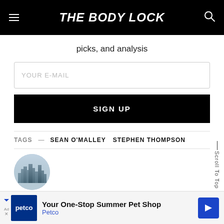THE BODY LOCK
picks, and analysis
YOUR E-MAIL
SIGN UP
TAGS — SEAN O'MALLEY   STEPHEN THOMPSON
[Figure (photo): Circular author avatar photo showing a city skyline silhouette, partially visible at bottom of page]
Scroll To Top
Your One-Stop Summer Pet Shop Petco